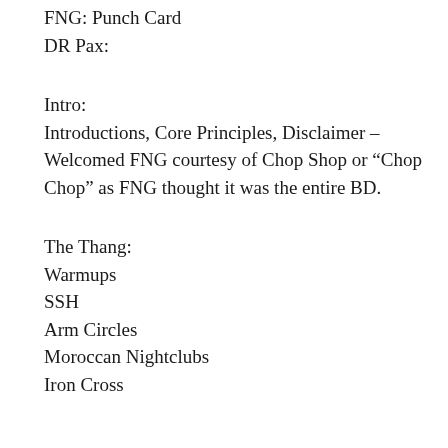FNG: Punch Card
DR Pax:
Intro:
Introductions, Core Principles, Disclaimer – Welcomed FNG courtesy of Chop Shop or “Chop Chop” as FNG thought it was the entire BD.
The Thang:
Warmups
SSH
Arm Circles
Moroccan Nightclubs
Iron Cross